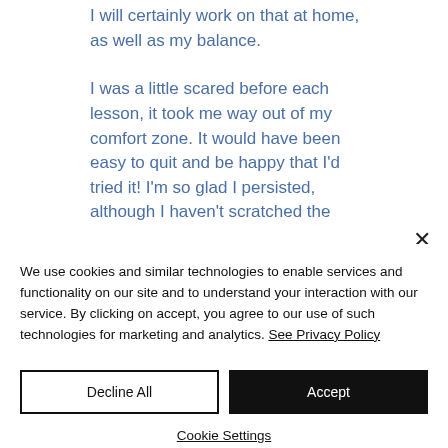I will certainly work on that at home, as well as my balance.
I was a little scared before each lesson, it took me way out of my comfort zone. It would have been easy to quit and be happy that I'd tried it! I'm so glad I persisted, although I haven't scratched the
We use cookies and similar technologies to enable services and functionality on our site and to understand your interaction with our service. By clicking on accept, you agree to our use of such technologies for marketing and analytics. See Privacy Policy
Decline All
Accept
Cookie Settings